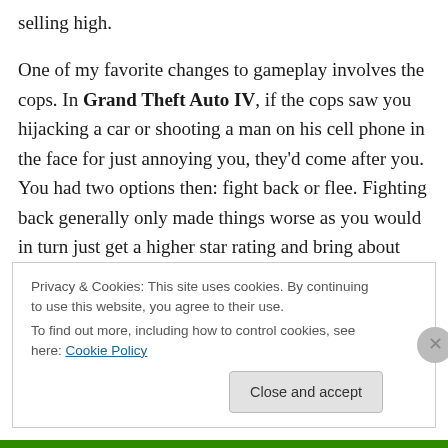selling high.

One of my favorite changes to gameplay involves the cops. In Grand Theft Auto IV, if the cops saw you hijacking a car or shooting a man on his cell phone in the face for just annoying you, they'd come after you. You had two options then: fight back or flee. Fighting back generally only made things worse as you would in turn just get a higher star rating and bring about more cops. So you'd flee, driving desperately down streets and flying through alleys in hopes of losing those men in blue. In
Privacy & Cookies: This site uses cookies. By continuing to use this website, you agree to their use.
To find out more, including how to control cookies, see here: Cookie Policy
Close and accept